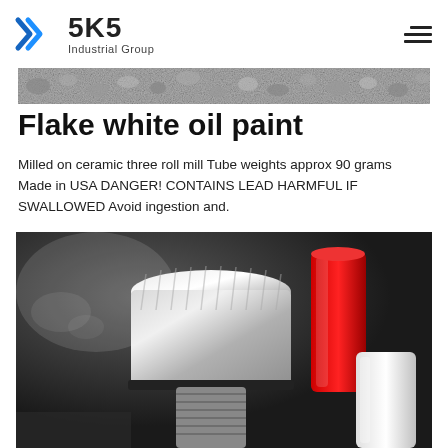[Figure (logo): SKS Industrial Group logo with blue angular chevron/shield icon and text 'SKS Industrial Group']
[Figure (photo): Horizontal banner image showing gray gravel or crushed stone texture]
Flake white oil paint
Milled on ceramic three roll mill Tube weights approx 90 grams Made in USA DANGER! CONTAINS LEAD HARMFUL IF SWALLOWED Avoid ingestion and.
[Figure (photo): Close-up photograph of industrial metal components including a large silver metal cap/fitting and red and white cylindrical containers in the background]